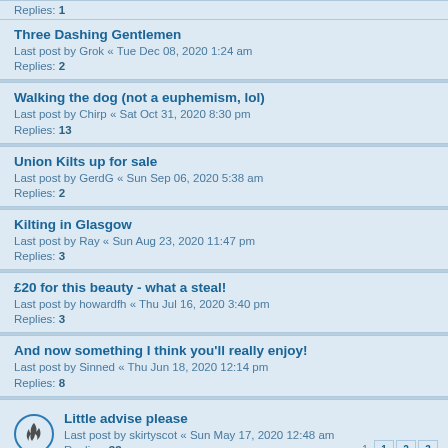Replies: 1
Three Dashing Gentlemen
Last post by Grok « Tue Dec 08, 2020 1:24 am
Replies: 2
Walking the dog (not a euphemism, lol)
Last post by Chirp « Sat Oct 31, 2020 8:30 pm
Replies: 13
Union Kilts up for sale
Last post by GerdG « Sun Sep 06, 2020 5:38 am
Replies: 2
Kilting in Glasgow
Last post by Ray « Sun Aug 23, 2020 11:47 pm
Replies: 3
£20 for this beauty - what a steal!
Last post by howardfh « Thu Jul 16, 2020 3:40 pm
Replies: 3
And now something I think you'll really enjoy!
Last post by Sinned « Thu Jun 18, 2020 12:14 pm
Replies: 8
Little advise please
Last post by skirtyscot « Sun May 17, 2020 12:48 am
Replies: 33
USA National Tartan Day - Monday April 6 2020
Last post by r.m.anderson « Sat Apr 04, 2020 8:36 am
Rainbow utility kilt.
Last post by phathack « Tue Feb 18, 2020 5:15 am
Replies: 10